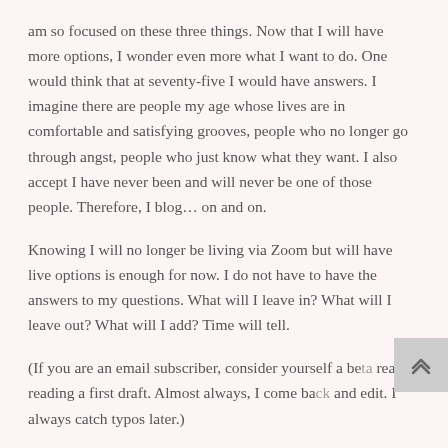am so focused on these three things. Now that I will have more options, I wonder even more what I want to do. One would think that at seventy-five I would have answers. I imagine there are people my age whose lives are in comfortable and satisfying grooves, people who no longer go through angst, people who just know what they want. I also accept I have never been and will never be one of those people. Therefore, I blog… on and on.
Knowing I will no longer be living via Zoom but will have live options is enough for now. I do not have to have the answers to my questions. What will I leave in? What will I leave out? What will I add? Time will tell.
(If you are an email subscriber, consider yourself a beta reader reading a first draft. Almost always, I come back and edit. I always catch typos later.)